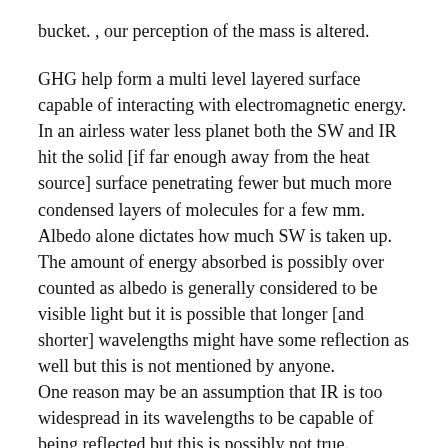bucket. , our perception of the mass is altered.
GHG help form a multi level layered surface capable of interacting with electromagnetic energy.
In an airless water less planet both the SW and IR hit the solid [if far enough away from the heat source] surface penetrating fewer but much more condensed layers of molecules for a few mm.
Albedo alone dictates how much SW is taken up.
The amount of energy absorbed is possibly over counted as albedo is generally considered to be visible light but it is possible that longer [and shorter] wavelengths might have some reflection as well but this is not mentioned by anyone.
One reason may be an assumption that IR is too widespread in its wavelengths to be capable of being reflected but this is possibly not true.
Ina planet with an atmosphere the level of